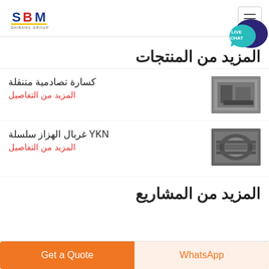SBM SHIBANG GROUP
[Figure (logo): SBM Shibang Group logo with blue and red text and yellow underline]
[Figure (illustration): Live chat speech bubble icon with teal and dark blue colors]
المزيد من المنتجات
[Figure (photo): Industrial impact crusher machine thumbnail]
كسارة تصادمية متنقلة
المزيد من التفاصيل
[Figure (photo): YKN vibrating screen machine thumbnail]
YKN غربال الهزاز سلسلة
المزيد من التفاصيل
المزيد من المشاريع
Get a Quote
WhatsApp